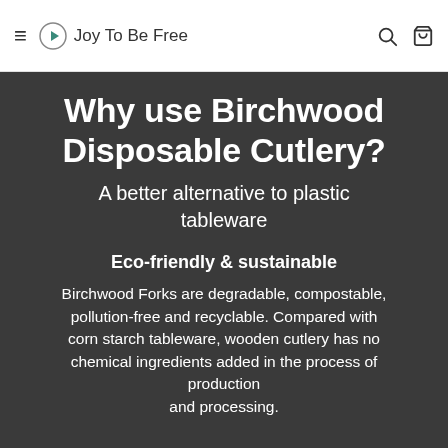Joy To Be Free
Why use Birchwood Disposable Cutlery?
A better alternative to plastic tableware
Eco-friendly & sustainable
Birchwood Forks are degradable, compostable, pollution-free and recyclable. Compared with corn starch tableware, wooden cutlery has no chemical ingredients added in the process of production and processing.